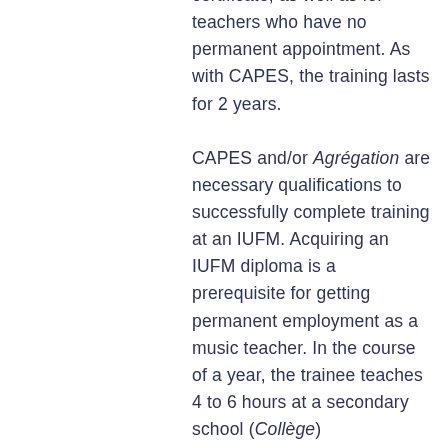certificate, as well as for teachers who have no permanent appointment. As with CAPES, the training lasts for 2 years. CAPES and/or Agrégation are necessary qualifications to successfully complete training at an IUFM. Acquiring an IUFM diploma is a prerequisite for getting permanent employment as a music teacher. In the course of a year, the trainee teaches 4 to 6 hours at a secondary school (Collège)